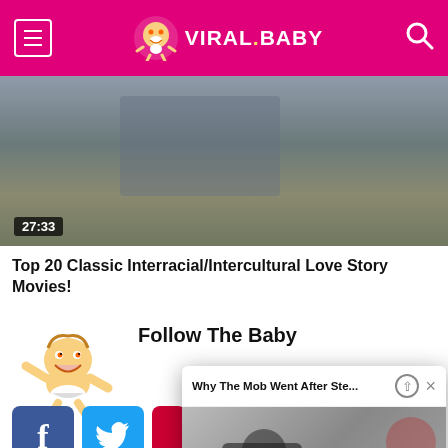VIRAL.BABY
[Figure (screenshot): Video thumbnail showing two people, timestamp 27:33]
Top 20 Classic Interracial/Intercultural Love Story Movies!
[Figure (illustration): Cartoon baby mascot for Viral.Baby website]
Follow The Baby
[Figure (screenshot): Popup video card titled 'Why The Mob Went After Ste...' with video thumbnail showing a man in glasses]
[Figure (logo): Facebook share button]
[Figure (logo): Twitter share button]